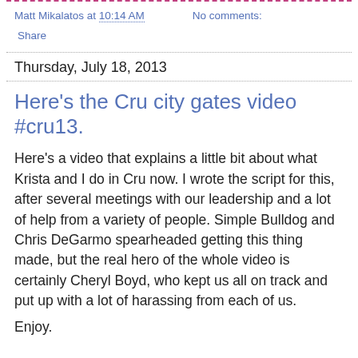Matt Mikalatos at 10:14 AM   No comments:
Share
Thursday, July 18, 2013
Here's the Cru city gates video #cru13.
Here's a video that explains a little bit about what Krista and I do in Cru now. I wrote the script for this, after several meetings with our leadership and a lot of help from a variety of people. Simple Bulldog and Chris DeGarmo spearheaded getting this thing made, but the real hero of the whole video is certainly Cheryl Boyd, who kept us all on track and put up with a lot of harassing from each of us.
Enjoy.